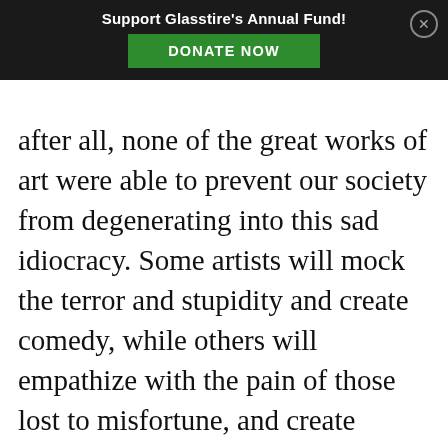Support Glasstire's Annual Fund! DONATE NOW
after all, none of the great works of art were able to prevent our society from degenerating into this sad idiocracy. Some artists will mock the terror and stupidity and create comedy, while others will empathize with the pain of those lost to misfortune, and create tragedy. The best among them will find a road between the masks. If there was never any real expectation of compensation for this calling, there will be even less in the years ahead. As long as art remains a helpless, inexplicable labor of love, there’s hope to rebuild on the ruins.